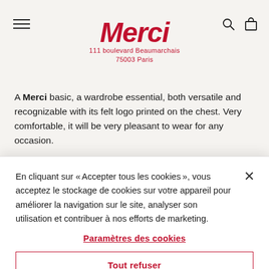Merci
111 boulevard Beaumarchais
75003 Paris
A Merci basic, a wardrobe essential, both versatile and recognizable with its felt logo printed on the chest. Very comfortable, it will be very pleasant to wear for any occasion.
Merci cotton t-shirt
En cliquant sur « Accepter tous les cookies », vous acceptez le stockage de cookies sur votre appareil pour améliorer la navigation sur le site, analyser son utilisation et contribuer à nos efforts de marketing.
Paramètres des cookies
Tout refuser
Autoriser tous les cookies